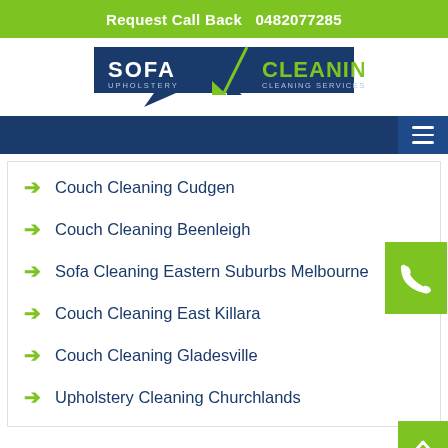Request Call Back   0482077285
[Figure (logo): Sofa Cleaning Upholstery / Cleaning Services logo with dark blue badge shapes and green accents]
Couch Cleaning Cudgen
Couch Cleaning Beenleigh
Sofa Cleaning Eastern Suburbs Melbourne
Couch Cleaning East Killara
Couch Cleaning Gladesville
Upholstery Cleaning Churchlands
squeaky clean sofa-Public liability Insurance